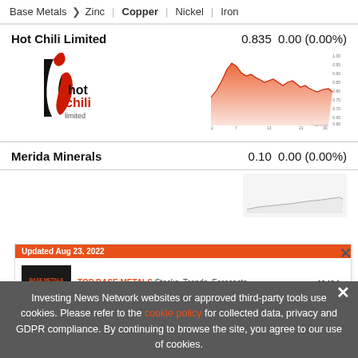Base Metals > Zinc | Copper | Nickel | Iron
Hot Chili Limited   0.835   0.00 (0.00%)
[Figure (logo): Hot Chili Limited logo — black and red stylized chili with white flame, text 'hot chili limited']
[Figure (area-chart): Area chart showing Hot Chili Limited stock price over time (approx 2 to 30), with red/orange fill, peak around 1.00 then declining to ~0.835]
Merida Minerals   0.10   0.00 (0.00%)
[Figure (area-chart): Small partially visible area chart for Merida Minerals stock]
[Figure (infographic): Advertisement banner: 'Updated Aug 23, 2022' header in orange. Shows 'BASE METALS OUTLOOK 2022' book cover. Text: 'TOP BASE METALS Stocks, Trends, Forecasts' and '2022 Base Metals Outlook Report'. INN logo on right. Mountain silhouette on left.]
Investing News Network websites or approved third-party tools use cookies. Please refer to the cookie policy for collected data, privacy and GDPR compliance. By continuing to browse the site, you agree to our use of cookies.